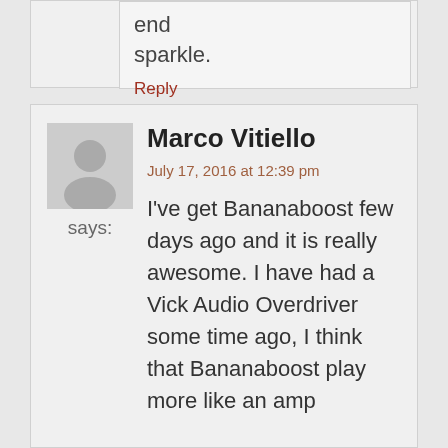end sparkle.
Reply
Marco Vitiello
says:
July 17, 2016 at 12:39 pm
I've get Bananaboost few days ago and it is really awesome. I have had a Vick Audio Overdriver some time ago, I think that Bananaboost play more like an amp